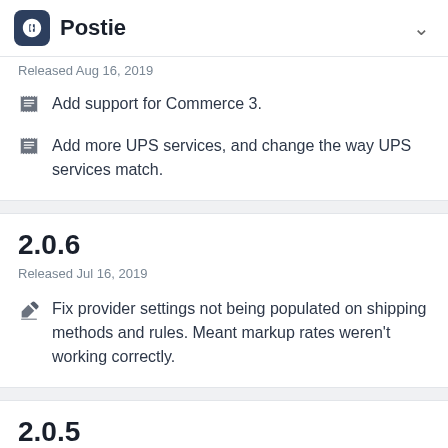Postie
Released Aug 16, 2019
Add support for Commerce 3.
Add more UPS services, and change the way UPS services match.
2.0.6
Released Jul 16, 2019
Fix provider settings not being populated on shipping methods and rules. Meant markup rates weren't working correctly.
2.0.5